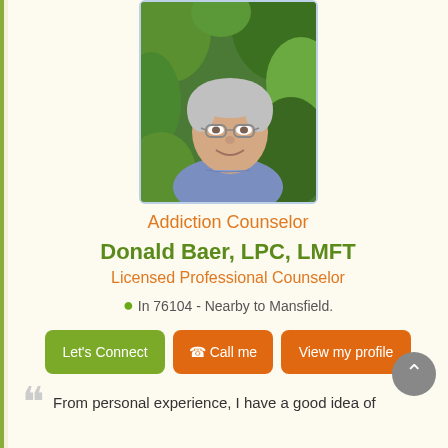[Figure (photo): Photo of Donald Baer, an older gentleman with gray hair and glasses, wearing a blue shirt, smiling, with green foliage in the background]
Addiction Counselor
Donald Baer, LPC, LMFT
Licensed Professional Counselor
In 76104 - Nearby to Mansfield.
Let's Connect  Call me  View my profile
From personal experience, I have a good idea of